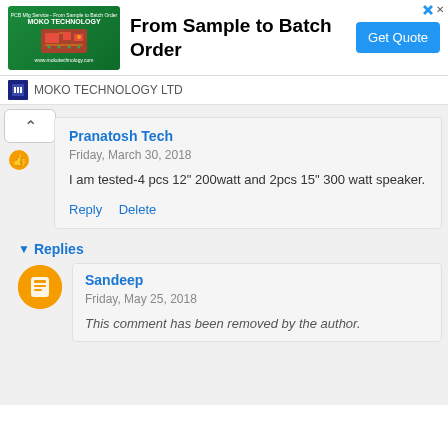[Figure (illustration): Advertisement banner: green background with red PCB circuit board image, text 'From Sample to Batch Order', 'Get Quote' blue button, MOKO TECHNOLOGY LTD branding]
Pranatosh Tech
Friday, March 30, 2018
I am tested-4 pcs 12" 200watt and 2pcs 15" 300 watt speaker.
Reply   Delete
Replies
Sandeep
Friday, May 25, 2018
This comment has been removed by the author.